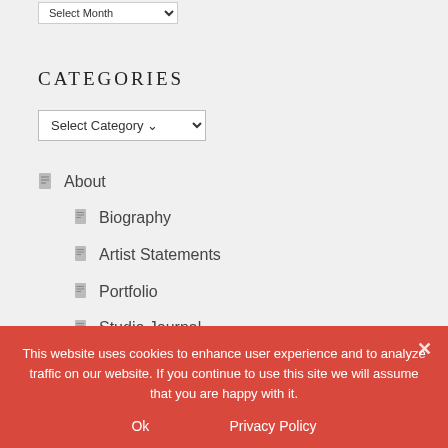Select Month
CATEGORIES
Select Category
About
Biography
Artist Statements
Portfolio
Studio Journal
This website uses cookies to enhance user experience and to analyze traffic on our website. If you continue to use this site we will assume that you are happy with it.
Ok
Privacy Policy